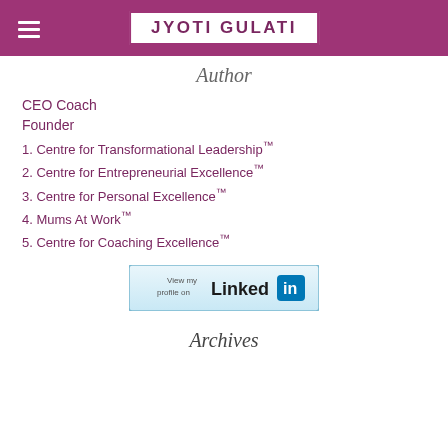JYOTI GULATI
Author
CEO Coach
Founder
1. Centre for Transformational Leadership™
2. Centre for Entrepreneurial Excellence™
3. Centre for Personal Excellence™
4. Mums At Work™
5. Centre for Coaching Excellence™
[Figure (logo): LinkedIn 'View my profile on LinkedIn' button badge]
Archives